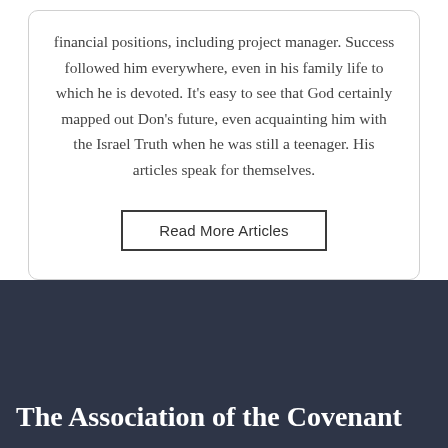financial positions, including project manager. Success followed him everywhere, even in his family life to which he is devoted. It's easy to see that God certainly mapped out Don's future, even acquainting him with the Israel Truth when he was still a teenager. His articles speak for themselves.
Read More Articles
The Association of the Covenant